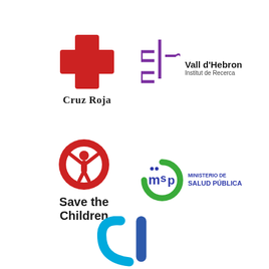[Figure (logo): Cruz Roja (Red Cross) logo: red cross symbol above text 'Cruz Roja' in serif font]
[Figure (logo): Vall d'Hebron Institut de Recerca logo: purple cross/plus with wavy line and text]
[Figure (logo): Save the Children logo: red circle with child figure raising arms, bold black text 'Save the Children']
[Figure (logo): Ministerio de Salud Pública logo: green circular swoosh with blue/purple 'msp' letters and text 'MINISTERIO DE SALUD PÚBLICA']
[Figure (logo): Partial logo at bottom: blue/cyan curved shapes suggesting a circular logo, partially cut off]